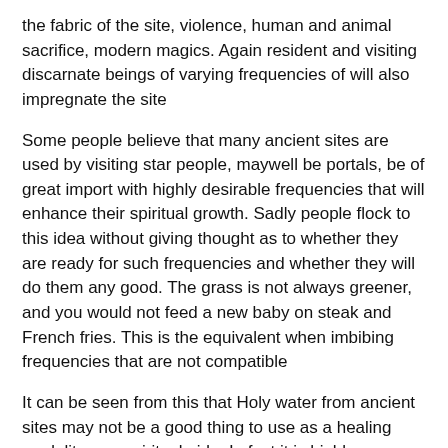the fabric of the site, violence, human and animal sacrifice, modern magics. Again resident and visiting discarnate beings of varying frequencies of will also impregnate the site
Some people believe that many ancient sites are used by visiting star people, maywell be portals, be of great import with highly desirable frequencies that will enhance their spiritual growth. Sadly people flock to this idea without giving thought as to whether they are ready for such frequencies and whether they will do them any good. The grass is not always greener, and you would not feed a new baby on steak and French fries. This is the equivalent when imbibing frequencies that are not compatible
It can be seen from this that Holy water from ancient sites may not be a good thing to use as a healing modality or a spiritual aide. In fact it is highly questionable as to its uses for good at all.